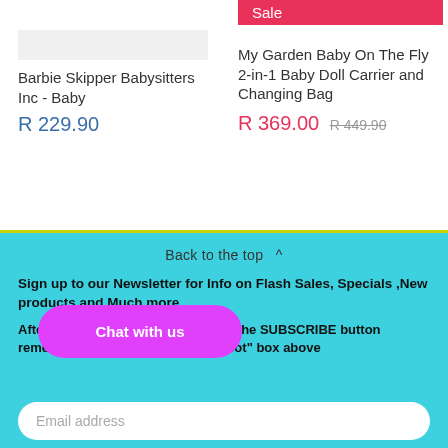Barbie Skipper Babysitters Inc - Baby
R 229.90
Sale
My Garden Baby On The Fly 2-in-1 Baby Doll Carrier and Changing Bag
R 369.00  R 449.90
Back to the top ^
Sign up to our Newsletter for Info on Flash Sales, Specials ,New products and Much more
After adding your email and hitting the SUBSCRIBE button remember to tick the "Im not a Robot" box above
Chat with us
Email address